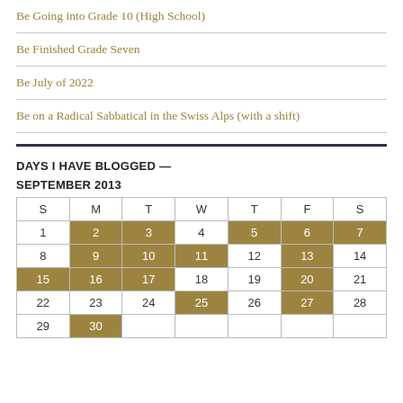Be Going into Grade 10 (High School)
Be Finished Grade Seven
Be July of 2022
Be on a Radical Sabbatical in the Swiss Alps (with a shift)
DAYS I HAVE BLOGGED —
SEPTEMBER 2013
| S | M | T | W | T | F | S |
| --- | --- | --- | --- | --- | --- | --- |
| 1 | 2 | 3 | 4 | 5 | 6 | 7 |
| 8 | 9 | 10 | 11 | 12 | 13 | 14 |
| 15 | 16 | 17 | 18 | 19 | 20 | 21 |
| 22 | 23 | 24 | 25 | 26 | 27 | 28 |
| 29 | 30 |  |  |  |  |  |